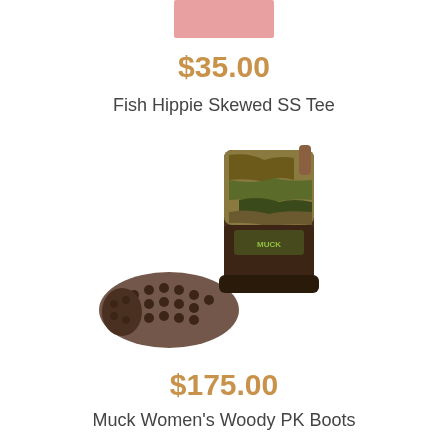[Figure (photo): Partial view of a pink/salmon colored t-shirt at the top of the page]
$35.00
Fish Hippie Skewed SS Tee
[Figure (photo): Muck Women's Woody PK Boots — camo pattern tall rubber boot with treaded sole shown alongside the boot standing upright]
$175.00
Muck Women's Woody PK Boots